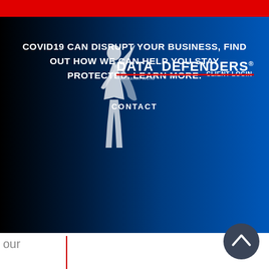[Figure (screenshot): Red top bar of a website header]
[Figure (screenshot): Dark blue gradient hero banner with COVID-19 message, Data Defenders logo with silhouette figure overlay, CLIENT LOGIN link, and CONTACT text]
COVID19 CAN DISRUPT YOUR BUSINESS, FIND OUT HOW WE CAN HELP YOU STAY PROTECTED. LEARN MORE.
CLIENT LOGIN
DATA DEFENDERS®
Information World™
CONTACT
our
[Figure (illustration): Dark gray circular back-to-top button with upward chevron arrow]